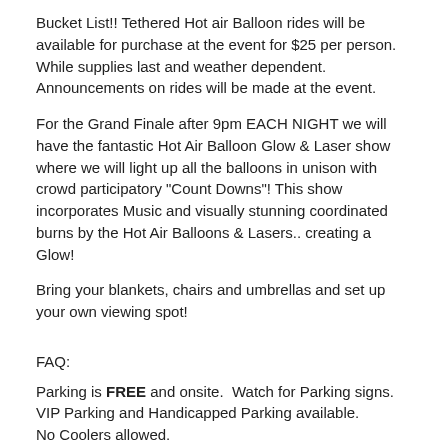Bucket List!! Tethered Hot air Balloon rides will be available for purchase at the event for $25 per person. While supplies last and weather dependent. Announcements on rides will be made at the event.
For the Grand Finale after 9pm EACH NIGHT we will have the fantastic Hot Air Balloon Glow & Laser show where we will light up all the balloons in unison with crowd participatory "Count Downs"! This show incorporates Music and visually stunning coordinated burns by the Hot Air Balloons & Lasers.. creating a Glow!
Bring your blankets, chairs and umbrellas and set up your own viewing spot!
FAQ:
Parking is FREE and onsite.  Watch for Parking signs. VIP Parking and Handicapped Parking available.
No Coolers allowed.
Balloon inflation will take place as soon a winds are low enough to be safe.  Listen for announcements during the event.
Rain will not hinder the festival part of the event and the laser